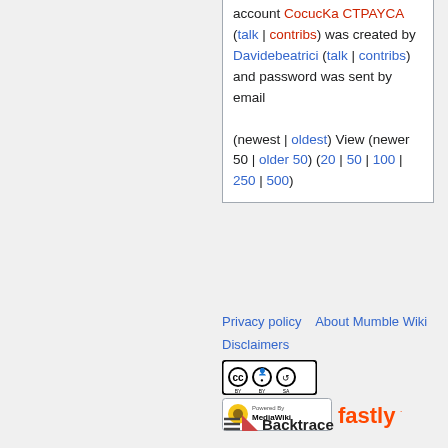account CocucKa CTPAYCA (talk | contribs) was created by Davidebeatrici (talk | contribs) and password was sent by email (newest | oldest) View (newer 50 | older 50) (20 | 50 | 100 | 250 | 500)
Privacy policy   About Mumble Wiki
Disclaimers
[Figure (logo): Creative Commons BY-SA license badge]
[Figure (logo): Powered by MediaWiki badge and Fastly logo]
[Figure (logo): Backtrace logo and MacStadium Powered By logo]